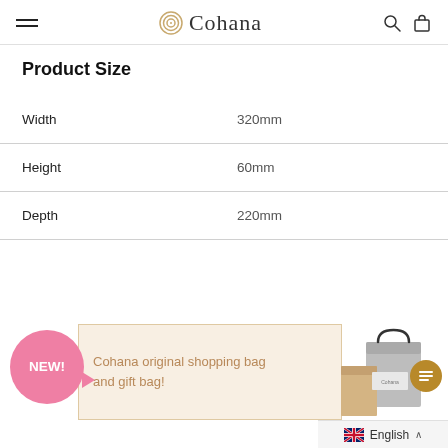Cohana
Product Size
|  |  |
| --- | --- |
| Width | 320mm |
| Height | 60mm |
| Depth | 220mm |
[Figure (infographic): NEW! speech bubble badge in pink and banner: Cohana original shopping bag and gift bag! with shopping bag image on the right]
English